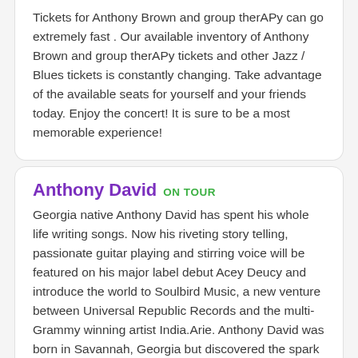Tickets for Anthony Brown and group therAPy can go extremely fast . Our available inventory of Anthony Brown and group therAPy tickets and other Jazz / Blues tickets is constantly changing. Take advantage of the available seats for yourself and your friends today. Enjoy the concert! It is sure to be a most memorable experience!
Anthony David ON TOUR
Georgia native Anthony David has spent his whole life writing songs. Now his riveting story telling, passionate guitar playing and stirring voice will be featured on his major label debut Acey Deucy and introduce the world to Soulbird Music, a new venture between Universal Republic Records and the multi-Grammy winning artist India.Arie. Anthony David was born in Savannah, Georgia but discovered the spark to ignite his artistic passions in Atlanta.